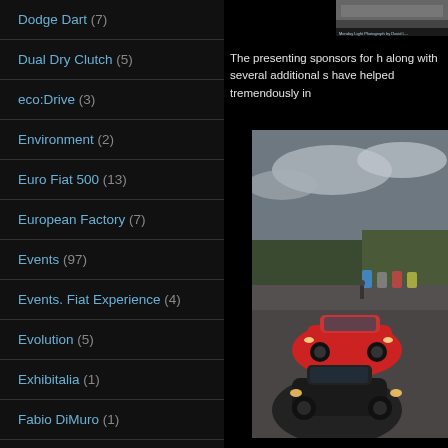Dodge Dart (7)
Dual Dry Clutch (5)
eco:Drive (3)
Environment (2)
Euro Fiat 500 (13)
European Factory (7)
Events (97)
Events. Fiat Experience (4)
Evolution (5)
Exhibitalia (1)
Fabio DiMuro (1)
FAQ (1)
Fashion Week (1)
FCA (7)
[Figure (photo): Small photo at top right showing a car-related image with caption text]
The presenting sponsors for h along with several additional s have helped tremendously in
[Figure (photo): Photo of multiple Fiat 500 cars parked on a gravel area with green hills and cloudy sky in background]